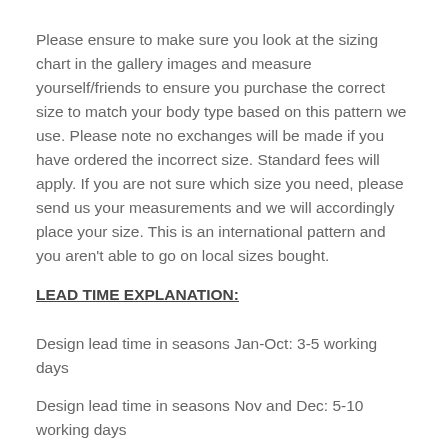Please ensure to make sure you look at the sizing chart in the gallery images and measure yourself/friends to ensure you purchase the correct size to match your body type based on this pattern we use. Please note no exchanges will be made if you have ordered the incorrect size. Standard fees will apply. If you are not sure which size you need, please send us your measurements and we will accordingly place your size. This is an international pattern and you aren't able to go on local sizes bought.
LEAD TIME EXPLANATION:
Design lead time in seasons Jan-Oct: 3-5 working days
Design lead time in seasons Nov and Dec: 5-10 working days
Production lead Jan-Oct: 3-5 working days